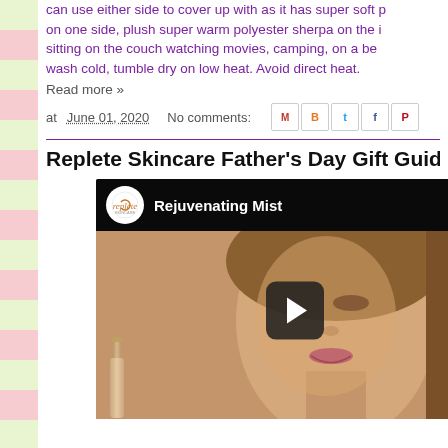can use either side to cover up with as it has super soft p on one side, plush super warm polyester sherpa on the i sitting on the couch watching movies, camping, on a be wash cold, tumble dry on low heat. Avoid direct heat.
Read more »
at June 01, 2020   No comments:
Replete Skincare Father's Day Gift Guide 2020
[Figure (screenshot): YouTube video thumbnail showing a woman's face with a Rejuvenating Mist title and play button, with a Replete skincare channel icon and a product bottle visible]